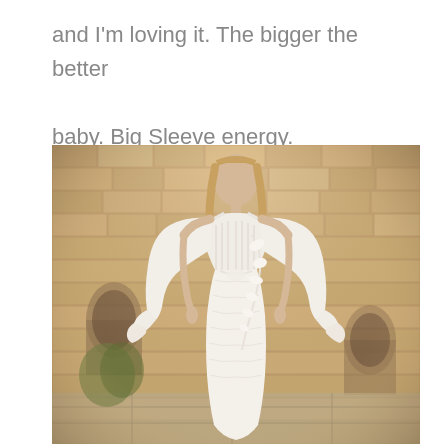and I'm loving it. The bigger the better baby. Big Sleeve energy.
[Figure (photo): A woman wearing a white off-shoulder bridal gown with large billowy sleeves and floral lace appliqué, standing in front of a stone wall building with arched windows, shot in warm natural light.]